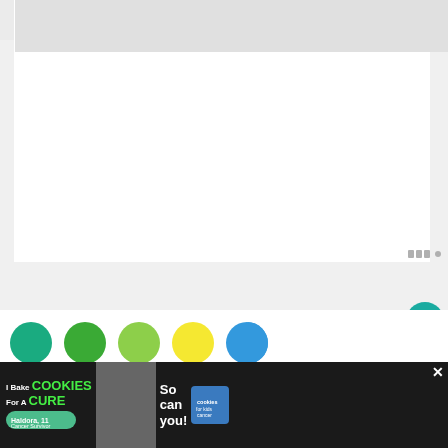[Figure (screenshot): Website screenshot showing a white content card area at top, a row of colorful circles (teal, green, light green, yellow, blue) below, partial italic serif text 'Friday Finds' beginning to show, social interaction buttons (heart/favorite button with count 1, share button), a Wordmark logo watermark, and an advertisement banner at the bottom for 'I Bake Cookies For A Cure' featuring Haldora, 11 Cancer Survivor with 'So can you!' text and an X close button.]